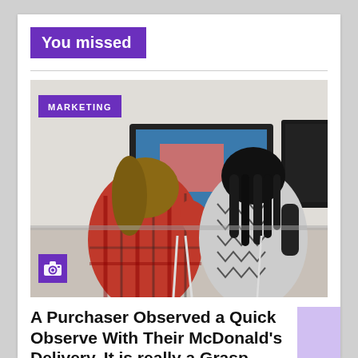You missed
[Figure (photo): Two women viewed from behind, standing at standing desks with multiple computer monitors in a bright office. One wears a red plaid flannel shirt, the other a black and white patterned dress. The photo has a purple 'MARKETING' badge overlaid in the top-left and a purple camera icon badge in the bottom-left.]
A Purchaser Observed a Quick Observe With Their McDonald's Delivery. It is really a Grasp